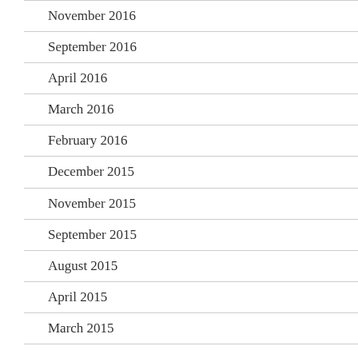November 2016
September 2016
April 2016
March 2016
February 2016
December 2015
November 2015
September 2015
August 2015
April 2015
March 2015